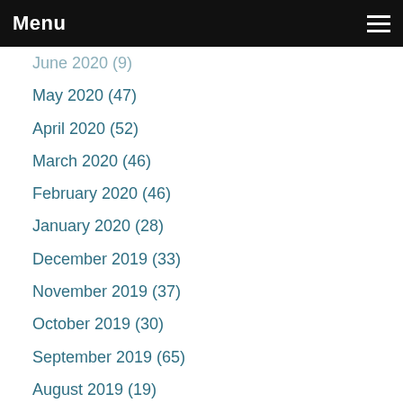Menu
June 2020 (9)
May 2020 (47)
April 2020 (52)
March 2020 (46)
February 2020 (46)
January 2020 (28)
December 2019 (33)
November 2019 (37)
October 2019 (30)
September 2019 (65)
August 2019 (19)
July 2019 (17)
June 2019 (21)
May 2019 (33)